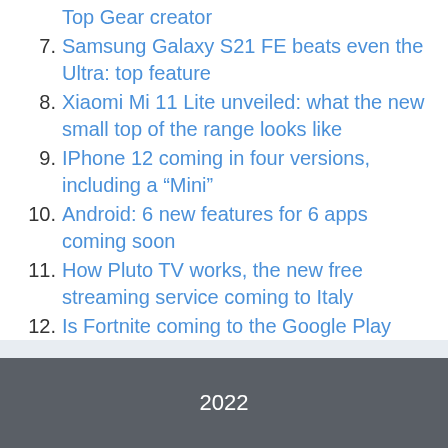Top Gear creator
7. Samsung Galaxy S21 FE beats even the Ultra: top feature
8. Xiaomi Mi 11 Lite unveiled: what the new small top of the range looks like
9. IPhone 12 coming in four versions, including a “Mini”
10. Android: 6 new features for 6 apps coming soon
11. How Pluto TV works, the new free streaming service coming to Italy
12. Is Fortnite coming to the Google Play Store? What is known at the moment
2022